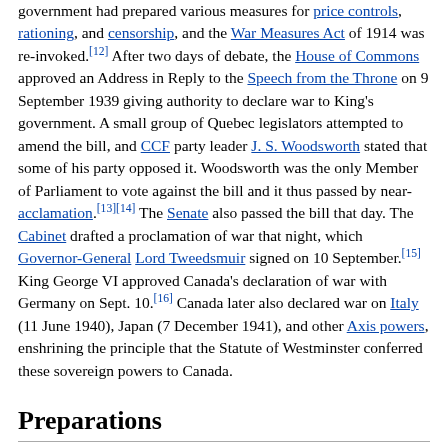government had prepared various measures for price controls, rationing, and censorship, and the War Measures Act of 1914 was re-invoked.[12] After two days of debate, the House of Commons approved an Address in Reply to the Speech from the Throne on 9 September 1939 giving authority to declare war to King's government. A small group of Quebec legislators attempted to amend the bill, and CCF party leader J. S. Woodsworth stated that some of his party opposed it. Woodsworth was the only Member of Parliament to vote against the bill and it thus passed by near-acclamation.[13][14] The Senate also passed the bill that day. The Cabinet drafted a proclamation of war that night, which Governor-General Lord Tweedsmuir signed on 10 September.[15] King George VI approved Canada's declaration of war with Germany on Sept. 10.[16] Canada later also declared war on Italy (11 June 1940), Japan (7 December 1941), and other Axis powers, enshrining the principle that the Statute of Westminster conferred these sovereign powers to Canada.
Preparations
Though Canada was the oldest Dominion in the British Empire, it was, for the most part, reluctant to enter the war. Canada, with a population somewhere between 11 and 12 million, eventually